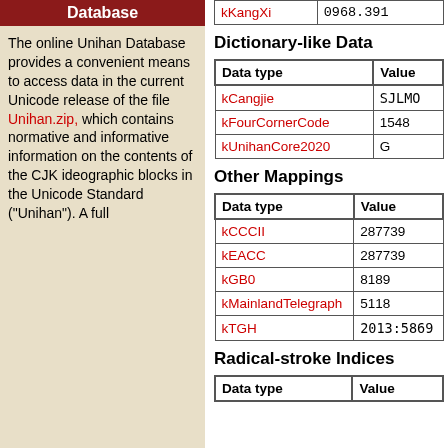Database
The online Unihan Database provides a convenient means to access data in the current Unicode release of the file Unihan.zip, which contains normative and informative information on the contents of the CJK ideographic blocks in the Unicode Standard ("Unihan"). A full
| kKangXi | 0968.391 |
Dictionary-like Data
| Data type | Value |
| --- | --- |
| kCangjie | SJLMO |
| kFourCornerCode | 1548 |
| kUnihanCore2020 | G |
Other Mappings
| Data type | Value |
| --- | --- |
| kCCCII | 287739 |
| kEACC | 287739 |
| kGB0 | 8189 |
| kMainlandTelegraph | 5118 |
| kTGH | 2013:5869 |
Radical-stroke Indices
| Data type | Value |
| --- | --- |